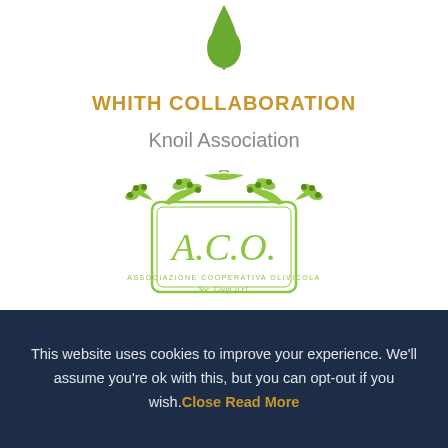[Figure (logo): Olive oil drop logo at top of page, green color with drip shape]
WHITH COLLABORATION
Knoil Association
[Figure (logo): A.C.O. logo - Associazione Cooperativa Olivicola Soc. Coop. a r.l. - green oval badge with olive branch decoration and italic ACO lettering]
This website uses cookies to improve your experience. We'll assume you're ok with this, but you can opt-out if you wish.Close Read More